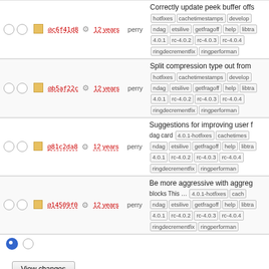|  |  | rev |  | age | author | description/tags |
| --- | --- | --- | --- | --- | --- | --- |
| ○○ | ■ | @c6f41d8 | ⚙ | 12 years | perry | Correctly update peek buffer offs... hotfixes cachetimestamps develop ndag etsilive getfragoff help libtra 4.0.1 rc-4.0.2 rc-4.0.3 rc-4.0.4 ringdecrementfix ringperforman |
| ○○ | ■ | @b5af22c | ⚙ | 12 years | perry | Split compression type out from... hotfixes cachetimestamps develop ndag etsilive getfragoff help libtra 4.0.1 rc-4.0.2 rc-4.0.3 rc-4.0.4 ringdecrementfix ringperforman |
| ○○ | ■ | @81c2da8 | ⚙ | 12 years | perry | Suggestions for improving user f... dag card 4.0.1-hotfixes cachetimes ndag etsilive getfragoff help libtra 4.0.1 rc-4.0.2 rc-4.0.3 rc-4.0.4 ringdecrementfix ringperforman |
| ○○ | ■ | @14509f0 | ⚙ | 12 years | perry | Be more aggressive with aggreg... blocks This ... 4.0.1-hotfixes cach ndag etsilive getfragoff help libtra 4.0.1 rc-4.0.2 rc-4.0.3 rc-4.0.4 ringdecrementfix ringperforman |
● ○
View changes
Note: See TracRevisionLog for help on using the revision log.
Download in other formats: RSS Feed | ChangeLog
Powered by Trac 1.0.10 By Edgewall Software. Visit the Trac open source project at http://trac.edgewall.com/